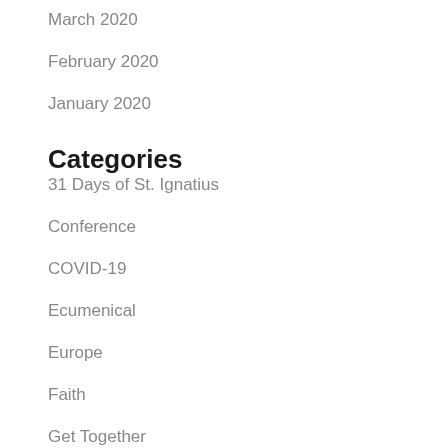March 2020
February 2020
January 2020
Categories
31 Days of St. Ignatius
Conference
COVID-19
Ecumenical
Europe
Faith
Get Together
Information
Interreligious
Lent